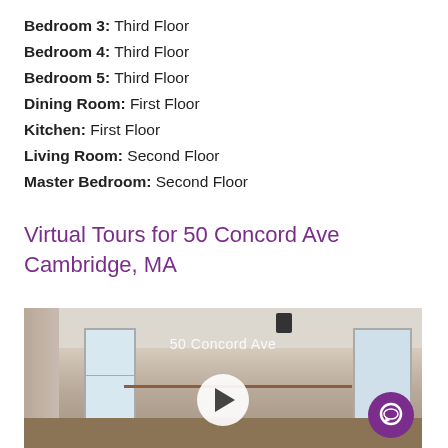Bedroom 3: Third Floor
Bedroom 4: Third Floor
Bedroom 5: Third Floor
Dining Room: First Floor
Kitchen: First Floor
Living Room: Second Floor
Master Bedroom: Second Floor
Virtual Tours for 50 Concord Ave Cambridge, MA
[Figure (screenshot): Video thumbnail showing interior room at 50 Concord Ave with a play button overlay and chat button in lower right corner]